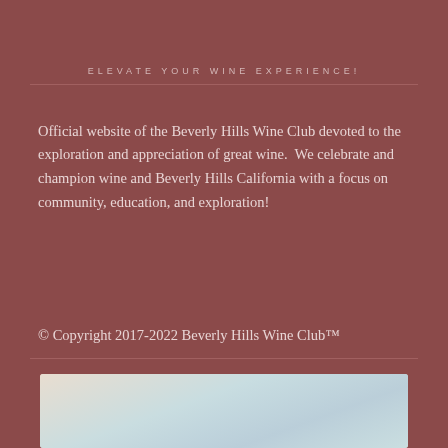ELEVATE YOUR WINE EXPERIENCE!
Official website of the Beverly Hills Wine Club devoted to the exploration and appreciation of great wine.  We celebrate and champion wine and Beverly Hills California with a focus on community, education, and exploration!
© Copyright 2017-2022 Beverly Hills Wine Club™
[Figure (photo): Sky photograph with soft clouds, light blue and cream tones]